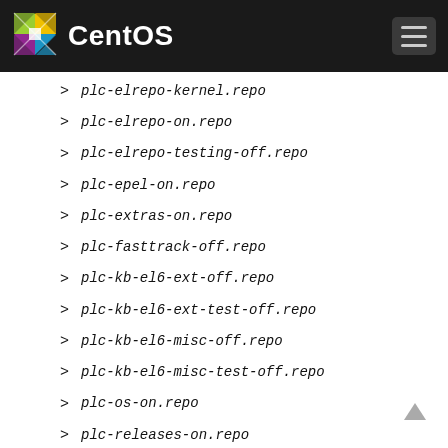CentOS
> plc-elrepo-kernel.repo
> plc-elrepo-on.repo
> plc-elrepo-testing-off.repo
> plc-epel-on.repo
> plc-extras-on.repo
> plc-fasttrack-off.repo
> plc-kb-el6-ext-off.repo
> plc-kb-el6-ext-test-off.repo
> plc-kb-el6-misc-off.repo
> plc-kb-el6-misc-test-off.repo
> plc-os-on.repo
> plc-releases-on.repo
> plc-remi-off.repo
> plc-remi-test-off.repo